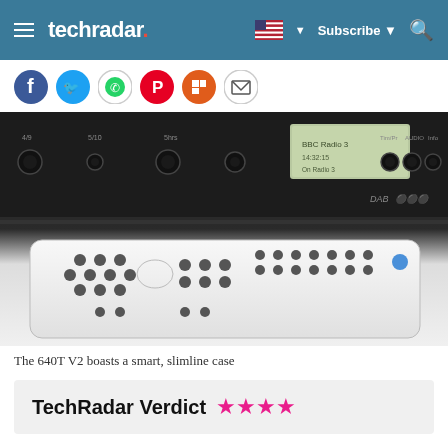techradar. Subscribe
[Figure (photo): Social sharing icons row: Facebook, Twitter, WhatsApp, Pinterest, Flipboard, Email]
[Figure (photo): Photo of the 640T V2 DAB radio device (black front panel with display and buttons) and a white remote control with dark buttons laid in front of it on a white surface]
The 640T V2 boasts a smart, slimline case
TechRadar Verdict ★★★★